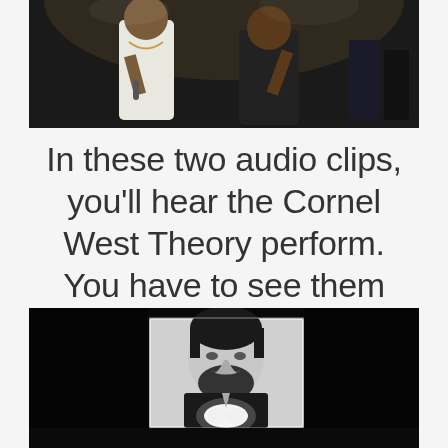[Figure (photo): Two performers on stage, one in a white tank top holding a microphone, another in a dark shirt, dark background with speakers]
In these two audio clips, you'll hear the Cornel West Theory perform. You have to see them live though. Really you do.
[Figure (photo): Black and white projection image of a bearded man in a suit with hands clasped, displayed on a screen in a dark venue]